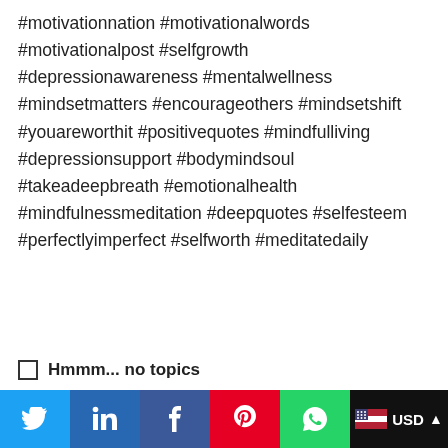#motivationnation #motivationalwords #motivationalpost #selfgrowth #depressionawareness #mentalwellness #mindsetmatters #encourageothers #mindsetshift #youareworthit #positivequotes #mindfulliving #depressionsupport #bodymindsoul #takeadeepbreath #emotionalhealth #mindfulnessmeditation #deepquotes #selfesteem #perfectlyimperfect #selfworth #meditatedaily
☐ Hmmm... no topics
[Figure (illustration): Red heart icon]
Twitter | LinkedIn | Facebook | Pinterest | WhatsApp | USD